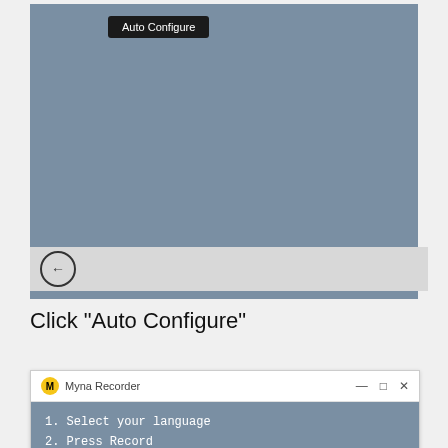[Figure (screenshot): Screenshot of a software UI showing a gray interface panel with an 'Auto Configure' button tooltip at the top, and a navigation bar with a back arrow button at the bottom.]
Click "Auto Configure"
[Figure (screenshot): Myna Recorder application window showing title bar with logo and window controls (minimize, restore, close), and a dark blue-gray content area with two items: '1. Select your language' and '2. Press Record'.]